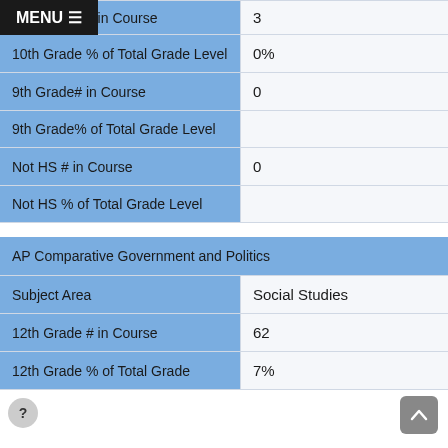| Field | Value |
| --- | --- |
| 10th Grade # in Course | 3 |
| 10th Grade % of Total Grade Level | 0% |
| 9th Grade# in Course | 0 |
| 9th Grade% of Total Grade Level |  |
| Not HS # in Course | 0 |
| Not HS % of Total Grade Level |  |
| AP Comparative Government and Politics |
| --- |
| Subject Area | Social Studies |
| 12th Grade # in Course | 62 |
| 12th Grade % of Total Grade | 7% |